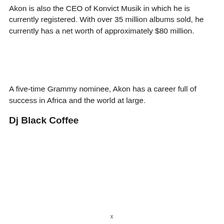Akon is also the CEO of Konvict Musik in which he is currently registered. With over 35 million albums sold, he currently has a net worth of approximately $80 million.
A five-time Grammy nominee, Akon has a career full of success in Africa and the world at large.
Dj Black Coffee
x